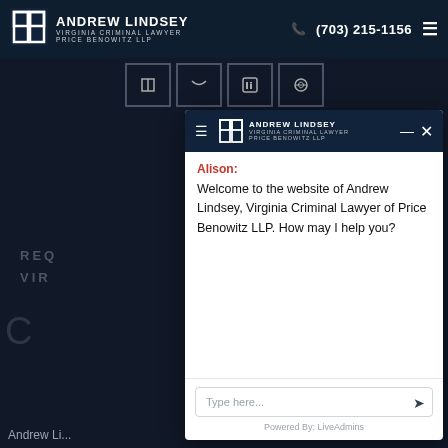Andrew Lindsey Virginia Criminal Lawyer Price Benowitz LLP | (703) 215-1156
[Figure (screenshot): Social media icon buttons row (Facebook, Twitter, LinkedIn, etc.)]
Im...
REG... VIR...
[Figure (screenshot): Live chat overlay panel with header showing Andrew Lindsey Virginia Criminal Lawyer Price Benowitz LLP logo, chat message from Alison: Welcome to the website of Andrew Lindsey, Virginia Criminal Lawyer of Price Benowitz LLP. How may I help you? And a text input box with send button. Powered By: LiveAdmins.]
Andrew Li...